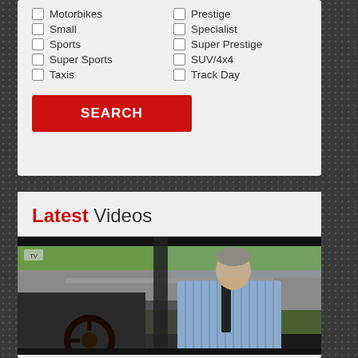Motorbikes
Prestige
Small
Specialist
Sports
Super Prestige
Super Sports
SUV/4x4
Taxis
Track Day
SEARCH
Latest Videos
[Figure (photo): Man in blue striped shirt driving a car, viewed from inside the vehicle]